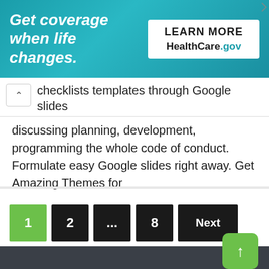[Figure (infographic): Advertisement banner for HealthCare.gov with teal/turquoise background. Left side reads 'Get coverage when life changes.' in bold italic white text. Right side has a white box with 'LEARN MORE' and 'HealthCare.gov' text.]
checklists templates through Google slides discussing planning, development, programming the whole code of conduct. Formulate easy Google slides right away. Get Amazing Themes for
1  2  ...  8  Next